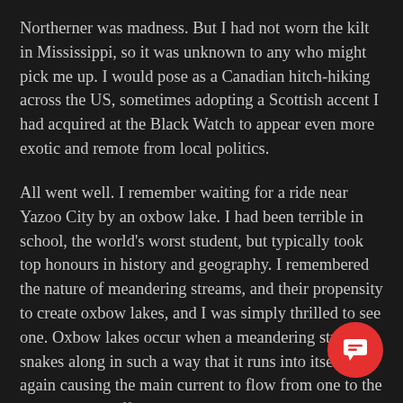Northerner was madness. But I had not worn the kilt in Mississippi, so it was unknown to any who might pick me up. I would pose as a Canadian hitch-hiking across the US, sometimes adopting a Scottish accent I had acquired at the Black Watch to appear even more exotic and remote from local politics.
All went well. I remember waiting for a ride near Yazoo City by an oxbow lake. I had been terrible in school, the world's worst student, but typically took top honours in history and geography. I remembered the nature of meandering streams, and their propensity to create oxbow lakes, and I was simply thrilled to see one. Oxbow lakes occur when a meandering stream snakes along in such a way that it runs into itself again causing the main current to flow from one to the other, cutting off t its meandering path had created. The orphaned now deprived of its water source, recedes into a crescent-shaped lake.
[Figure (other): Red circular chat button with white speech bubble icon in the bottom-right corner]